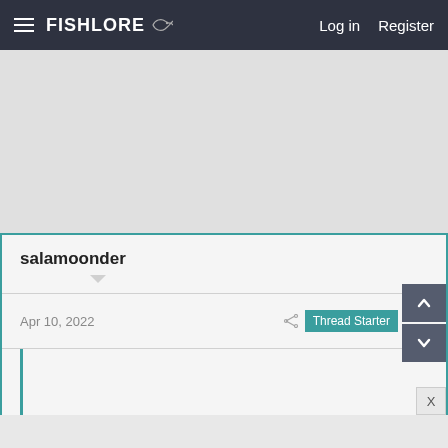FishLore | Log in | Register
[Figure (other): Gray advertisement placeholder area]
salamoonder
Apr 10, 2022
Thread Starter